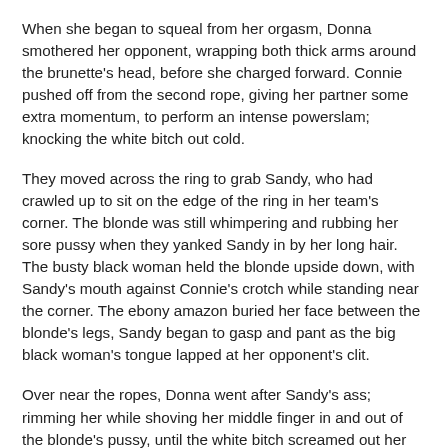When she began to squeal from her orgasm, Donna smothered her opponent, wrapping both thick arms around the brunette's head, before she charged forward. Connie pushed off from the second rope, giving her partner some extra momentum, to perform an intense powerslam; knocking the white bitch out cold.
They moved across the ring to grab Sandy, who had crawled up to sit on the edge of the ring in her team's corner. The blonde was still whimpering and rubbing her sore pussy when they yanked Sandy in by her long hair. The busty black woman held the blonde upside down, with Sandy's mouth against Connie's crotch while standing near the corner. The ebony amazon buried her face between the blonde's legs, Sandy began to gasp and pant as the big black woman's tongue lapped at her opponent's clit.
Over near the ropes, Donna went after Sandy's ass; rimming her while shoving her middle finger in and out of the blonde's pussy, until the white bitch screamed out her own orgasm. Just as Sandy squirted into Connie's face, Donna leapt off the second rope and used her